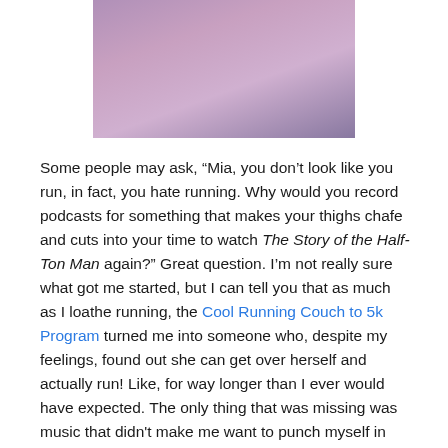[Figure (photo): Photograph of two people wearing purple/lavender shirts, seated indoors near a desk with computer equipment visible in the background.]
Some people may ask, “Mia, you don’t look like you run, in fact, you hate running. Why would you record podcasts for something that makes your thighs chafe and cuts into your time to watch The Story of the Half-Ton Man again?” Great question. I’m not really sure what got me started, but I can tell you that as much as I loathe running, the Cool Running Couch to 5k Program turned me into someone who, despite my feelings, found out she can get over herself and actually run! Like, for way longer than I ever would have expected. The only thing that was missing was music that didn’t make me want to punch myself in the throat. I realize that my music taste may still cause others to play Fight Club with themselves... but the podcasts are free so